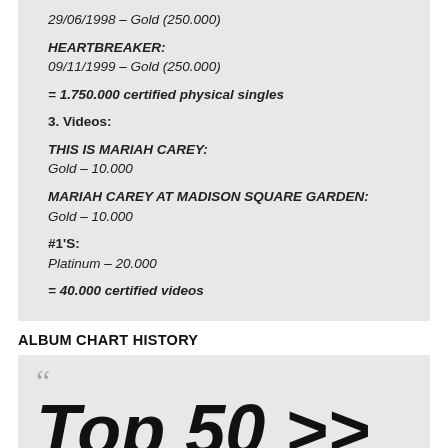29/06/1998 – Gold (250.000)
HEARTBREAKER: 09/11/1999 – Gold (250.000)
= 1.750.000 certified physical singles
3. Videos:
THIS IS MARIAH CAREY: Gold – 10.000
MARIAH CAREY AT MADISON SQUARE GARDEN: Gold – 10.000
#1'S: Platinum – 20.000
= 40.000 certified videos
ALBUM CHART HISTORY
[Figure (other): Large italic bold text reading 'Top 50 >>' and partially visible 'Top 75 lo 0' on a light grey background with an opening quotation mark]